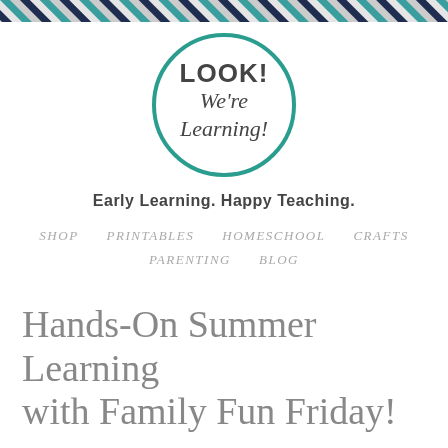[Figure (illustration): Diagonal striped banner at top of page with teal, grey, white, and dark navy alternating diagonal stripes]
[Figure (logo): Circular logo with teal border containing bold text 'LOOK!' on top and cursive text 'We're Learning!' inside on white background]
Early Learning. Happy Teaching.
SHOP   PRINTABLES   HOMESCHOOL   CRAFTS   PARENTING   BLOG
Hands-On Summer Learning with Family Fun Friday!